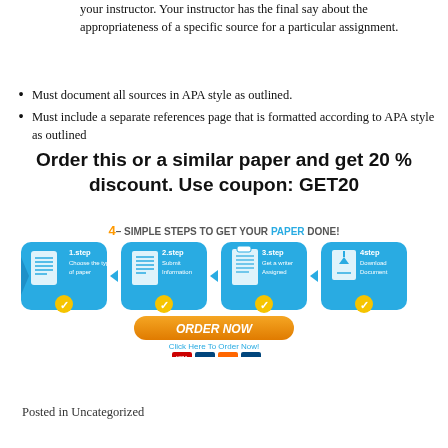your instructor. Your instructor has the final say about the appropriateness of a specific source for a particular assignment.
Must document all sources in APA style as outlined.
Must include a separate references page that is formatted according to APA style as outlined
Order this or a similar paper and get 20 % discount. Use coupon: GET20
[Figure (infographic): 4 simple steps to get your paper done: 1.step Choose the type of paper, 2.step Submit Information, 3.step Get a writer Assigned, 4step Download Document. With an ORDER NOW button and payment icons below.]
Posted in Uncategorized